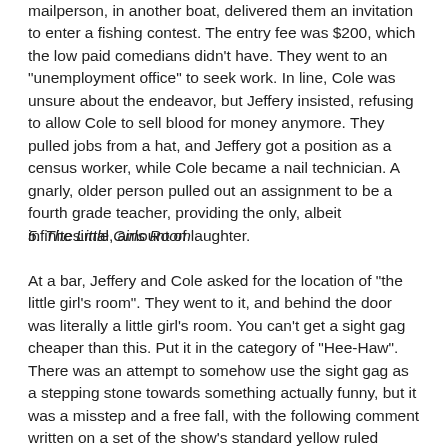mailperson, in another boat, delivered them an invitation to enter a fishing contest. The entry fee was $200, which the low paid comedians didn't have. They went to an "unemployment office" to seek work. In line, Cole was unsure about the endeavor, but Jeffery insisted, refusing to allow Cole to sell blood for money anymore. They pulled jobs from a hat, and Jeffery got a position as a census worker, while Cole became a nail technician. A gnarly, older person pulled out an assignment to be a fourth grade teacher, providing the only, albeit infinitesimal, amount of laughter.
5. The Little Girls Room
At a bar, Jeffery and Cole asked for the location of "the little girl's room". They went to it, and behind the door was literally a little girl's room. You can't get a sight gag cheaper than this. Put it in the category of "Hee-Haw". There was an attempt to somehow use the sight gag as a stepping stone towards something actually funny, but it was a misstep and a free fall, with the following comment written on a set of the show's standard yellow ruled paper: "When Life Gets You Down... Don't turn to drugs or booze of anonymous sex. Just